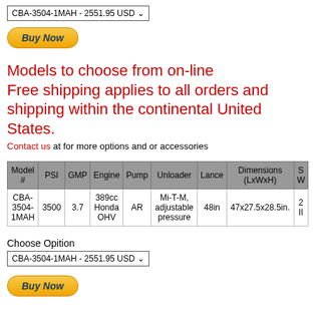[Figure (screenshot): Dropdown select box showing 'CBA-3504-1MAH - 2551.95 USD' with a dropdown arrow]
[Figure (screenshot): Buy Now button - gold/yellow pill-shaped button with bold italic dark blue text]
Models to choose from on-line Free shipping applies to all orders and shipping within the continental United States.
Contact us at for more options and or accessories
| Model # | PSI | GMP | Engine | Pump | Unloader | Lance | Dimensions (LxWxH) | S W |
| --- | --- | --- | --- | --- | --- | --- | --- | --- |
| CBA-3504-1MAH | 3500 | 3.7 | 389cc Honda OHV | AR | Mi-T-M, adjustable pressure | 48in | 47x27.5x28.5in. | 2 II |
Choose Opition
[Figure (screenshot): Dropdown select box showing 'CBA-3504-1MAH - 2551.95 USD' with a dropdown arrow]
[Figure (screenshot): Buy Now button - gold/yellow pill-shaped button with bold italic dark blue text]